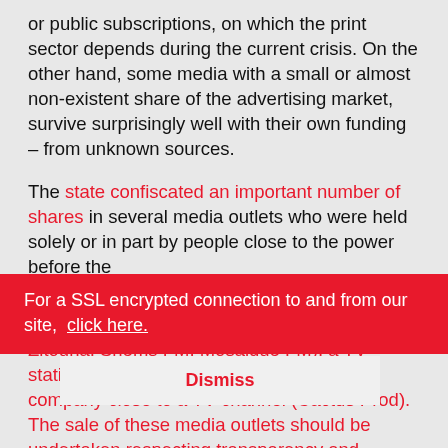or public subscriptions, on which the print sector depends during the current crisis. On the other hand, some media with a small or almost non-existent share of the advertising market, survive surprisingly well with their own funding – from unknown sources.
The state confiscated an important number of shares in several media outlets who were held solely or in part by people close to the power before the revolution. These include one publishing house (Dar Assabah), three radio stations (FM Zitouna, Shems FM, Mosaique FM), a TV station (Hannibal TV) and a production company close to a TV channel (Cactus Prod). The sale of these media outlets should be undertaken respecting transparency and diversity concerns.
For a SSL encrypted connection to and from our site, click here.
Dismiss